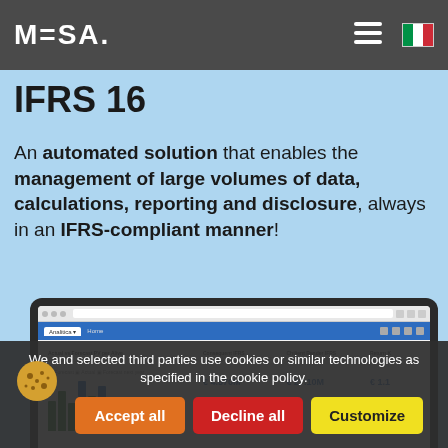MESA.
IFRS 16
An automated solution that enables the management of large volumes of data, calculations, reporting and disclosure, always in an IFRS-compliant manner!
[Figure (screenshot): Laptop/computer screen showing a web application dashboard with KPI cards and bar charts, related to IFRS 16 financial data management.]
We and selected third parties use cookies or similar technologies as specified in the cookie policy.
Accept all  Decline all  Customize